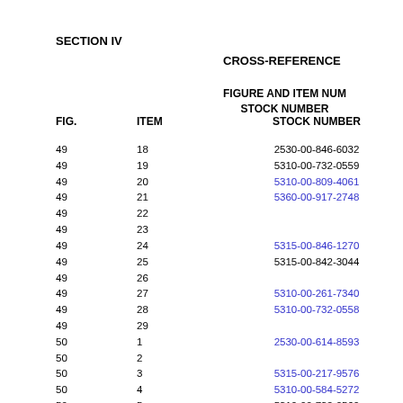SECTION IV
CROSS-REFERENCE
FIGURE AND ITEM NUMBER
STOCK NUMBER
| FIG. | ITEM | STOCK NUMBER |
| --- | --- | --- |
| 49 | 18 | 2530-00-846-6032 |
| 49 | 19 | 5310-00-732-0559 |
| 49 | 20 | 5310-00-809-4061 |
| 49 | 21 | 5360-00-917-2748 |
| 49 | 22 |  |
| 49 | 23 |  |
| 49 | 24 | 5315-00-846-1270 |
| 49 | 25 | 5315-00-842-3044 |
| 49 | 26 |  |
| 49 | 27 | 5310-00-261-7340 |
| 49 | 28 | 5310-00-732-0558 |
| 49 | 29 |  |
| 50 | 1 | 2530-00-614-8593 |
| 50 | 2 |  |
| 50 | 3 | 5315-00-217-9576 |
| 50 | 4 | 5310-00-584-5272 |
| 50 | 5 | 5310-00-732-0560 |
| 50 | 6 | 5340-00-217-9599 |
| 50 | 7 |  |